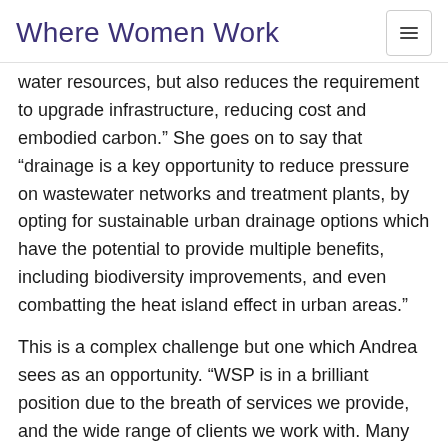Where Women Work
water resources, but also reduces the requirement to upgrade infrastructure, reducing cost and embodied carbon.” She goes on to say that “drainage is a key opportunity to reduce pressure on wastewater networks and treatment plants, by opting for sustainable urban drainage options which have the potential to provide multiple benefits, including biodiversity improvements, and even combatting the heat island effect in urban areas.”
This is a complex challenge but one which Andrea sees as an opportunity. “WSP is in a brilliant position due to the breath of services we provide, and the wide range of clients we work with. Many organisations are now being required to operate beyond their traditional boundaries or comfort zones, and we can support them through our